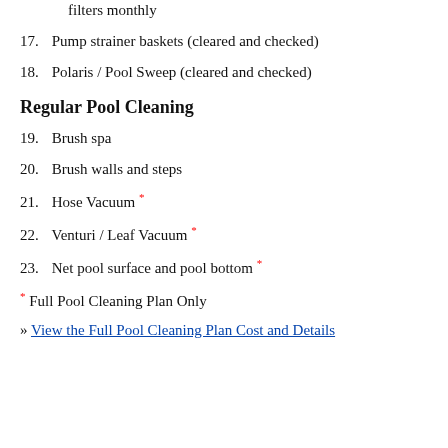filters monthly
17. Pump strainer baskets (cleared and checked)
18. Polaris / Pool Sweep (cleared and checked)
Regular Pool Cleaning
19. Brush spa
20. Brush walls and steps
21. Hose Vacuum *
22. Venturi / Leaf Vacuum *
23. Net pool surface and pool bottom *
* Full Pool Cleaning Plan Only
» View the Full Pool Cleaning Plan Cost and Details
» View the Full Pool Cleaning Plan Cost and Details (truncated at bottom)